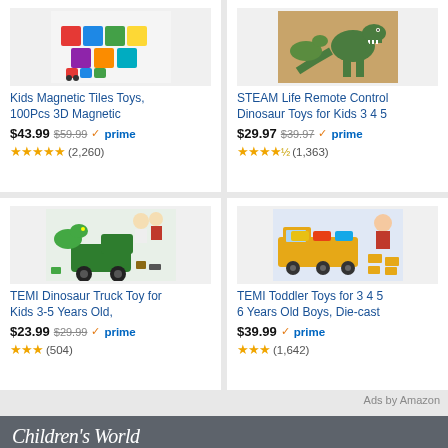[Figure (screenshot): Amazon product listing grid showing 4 toy products with images, titles, prices, Prime badges, and star ratings]
Kids Magnetic Tiles Toys, 100Pcs 3D Magnetic
$43.99 $59.99 prime (2,260) ★★★★★
STEAM Life Remote Control Dinosaur Toys for Kids 3 4 5
$29.97 $39.97 prime (1,363) ★★★★½
TEMI Dinosaur Truck Toy for Kids 3-5 Years Old,
$23.99 $29.99 prime (504) ★★★
TEMI Toddler Toys for 3 4 5 6 Years Old Boys, Die-cast
$39.99 prime (1,642) ★★★
Ads by Amazon
Children's World